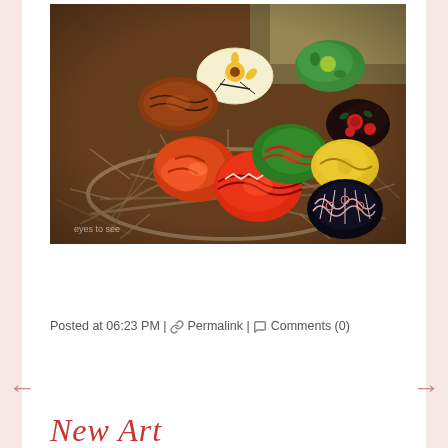[Figure (photo): Colorful decorated Easter eggs arranged in a nest made of twigs on a wooden table. The eggs feature intricate patterns and designs in red, green, yellow, black, and white. A watermark reads 'eyes to see' in the lower left corner.]
Posted at 06:23 PM | 🔗 Permalink | 💬 Comments (0)
New Art